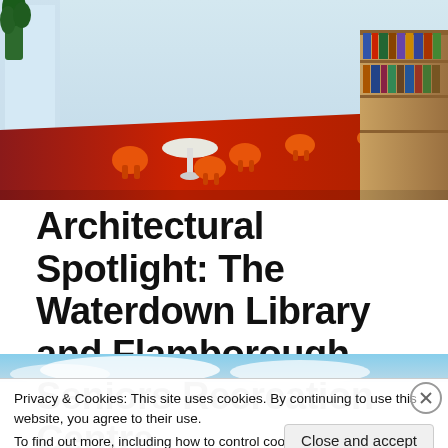[Figure (photo): Interior of the Waterdown Library showing orange chairs and red carpet with natural light]
Architectural Spotlight: The Waterdown Library and Flamborough Seniors Recreation Centre
[Figure (photo): Partial exterior photo showing blue sky with clouds, partially obscured by cookie consent banner]
Privacy & Cookies: This site uses cookies. By continuing to use this website, you agree to their use.
To find out more, including how to control cookies, see here: Cookie Policy
Close and accept